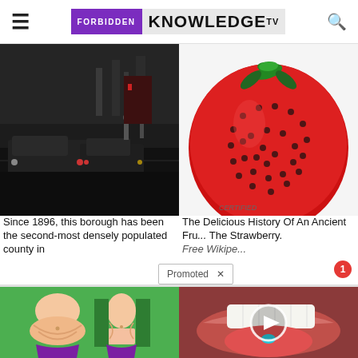FORBIDDEN KNOWLEDGE TV
[Figure (photo): Dark street scene photo with cars and figures]
Since 1896, this borough has been the second-most densely populated county in
[Figure (photo): Close-up photo of a large red strawberry]
The Delicious History Of An Ancient Fru... The Strawberry.
Free Wikipe...
Promoted ×
[Figure (illustration): Cartoon illustration of two female torsos in bikinis showing before/after weight loss]
How To Lose 40.5 Lbs In A Month (Eat This Once Every Day)
Find Out More
[Figure (photo): Close-up photo of a mouth with tongue out holding a blue-green pill, with video play button overlay]
4 Worst Blood Pressure Drugs (Avoid At All Costs)
Watch The Video